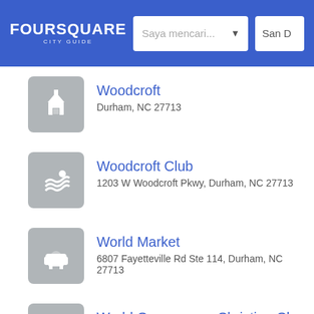FOURSQUARE CITY GUIDE — Saya mencari... — San D
Woodcroft
Durham, NC 27713
Woodcroft Club
1203 W Woodcroft Pkwy, Durham, NC 27713
World Market
6807 Fayetteville Rd Ste 114, Durham, NC 27713
World Overcomers Christian Ch
2933 S Miami Blvd (at T W Alexander Dr), Durham
Worth It Cafe
2945 S Miami Blvd (at T W Alexander Dr), Durham
Wyndham Garden Hotel